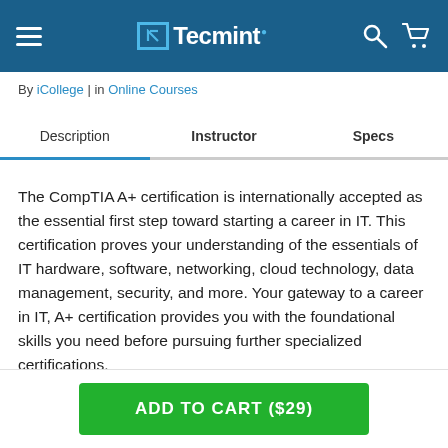Tecmint
By iCollege | in Online Courses
Description  Instructor  Specs
The CompTIA A+ certification is internationally accepted as the essential first step toward starting a career in IT. This certification proves your understanding of the essentials of IT hardware, software, networking, cloud technology, data management, security, and more. Your gateway to a career in IT, A+ certification provides you with the foundational skills you need before pursuing further specialized certifications.
ADD TO CART ($29)